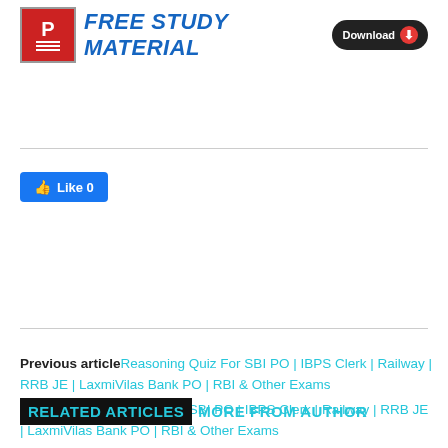[Figure (screenshot): Free Study Material banner with red book icon and blue bold italic text, plus a Download button with red arrow]
Like 0
Previous article Reasoning Quiz For SBI PO | IBPS Clerk | Railway | RRB JE | LaxmiVilas Bank PO | RBI & Other Exams
Next article Quant Quiz For SBI PO | IBPS Clerk | Railway | RRB JE | LaxmiVilas Bank PO | RBI & Other Exams
RELATED ARTICLES MORE FROM AUTHOR